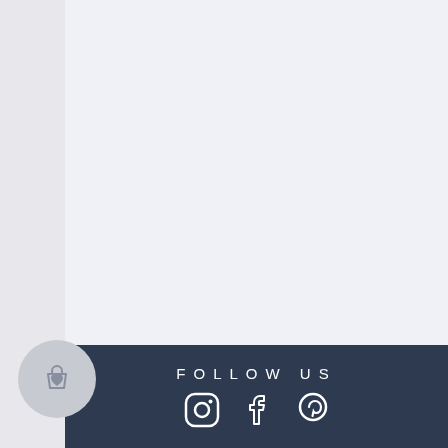[Figure (illustration): Large light blue-grey empty content area, the main body of a webpage or app screen]
FOLLOW US with Instagram, Facebook, and Pinterest social media icons
[Figure (illustration): Floating circular button with a shopping bag and heart icon, light grey color]